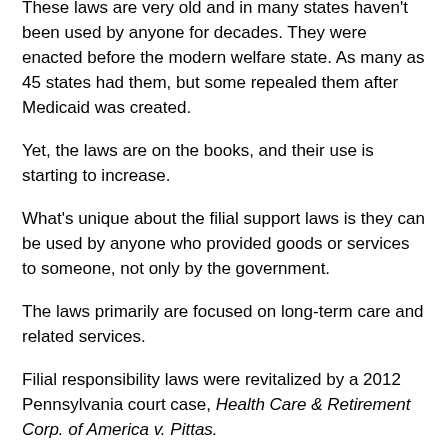These laws are very old and in many states haven't been used by anyone for decades. They were enacted before the modern welfare state. As many as 45 states had them, but some repealed them after Medicaid was created.
Yet, the laws are on the books, and their use is starting to increase.
What's unique about the filial support laws is they can be used by anyone who provided goods or services to someone, not only by the government.
The laws primarily are focused on long-term care and related services.
Filial responsibility laws were revitalized by a 2012 Pennsylvania court case, Health Care & Retirement Corp. of America v. Pittas.
In that case, a nursing home cared for a woman. She failed to pay and moved to Greece. She had applied for Medicaid, but no